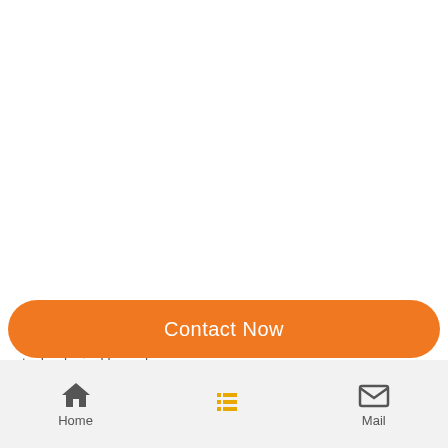Factory Our factory located in Maanshan, Anhui Province, China, we guarantee high quality standards, reliability and advanced technological know-how. Magnet Expert. Our engineer focus on magnet field over 20 years, the strategic
Contact Now
Home | Mail